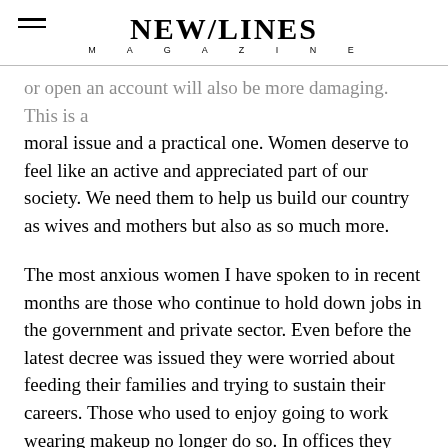NEW/LINES MAGAZINE
or open an account will also be more damaging. This is a moral issue and a practical one. Women deserve to feel like an active and appreciated part of our society. We need them to help us build our country as wives and mothers but also as so much more.
The most anxious women I have spoken to in recent months are those who continue to hold down jobs in the government and private sector. Even before the latest decree was issued they were worried about feeding their families and trying to sustain their careers. Those who used to enjoy going to work wearing makeup no longer do so. In offices they now carry out their duties separately from the men: typing, writing, cleaning, eating, talking and praying in